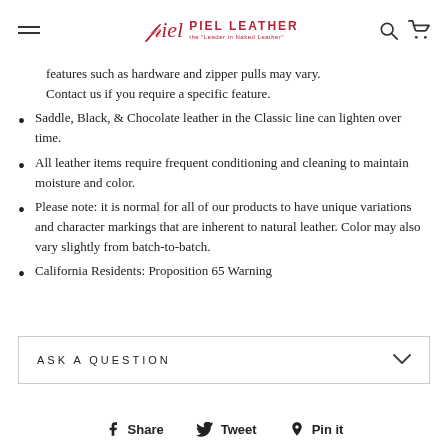Piel Leather — the 'Leader in Naked Leather'
features such as hardware and zipper pulls may vary. Contact us if you require a specific feature.
Saddle, Black, & Chocolate leather in the Classic line can lighten over time.
All leather items require frequent conditioning and cleaning to maintain moisture and color.
Please note: it is normal for all of our products to have unique variations and character markings that are inherent to natural leather. Color may also vary slightly from batch-to-batch.
California Residents: Proposition 65 Warning
ASK A QUESTION
Share  Tweet  Pin it